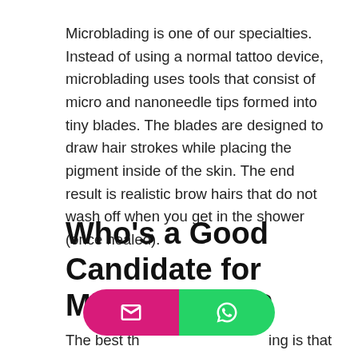Microblading is one of our specialties. Instead of using a normal tattoo device, microblading uses tools that consist of micro and nanoneedle tips formed into tiny blades. The blades are designed to draw hair strokes while placing the pigment inside of the skin. The end result is realistic brow hairs that do not wash off when you get in the shower (once healed).
Who's a Good Candidate for Microblading?
The best th…ing is that it can be used to give natural, full brows
[Figure (other): A floating pill-shaped button bar with two buttons: a magenta/pink email button on the left with an envelope icon, and a green WhatsApp button on the right with the WhatsApp logo.]